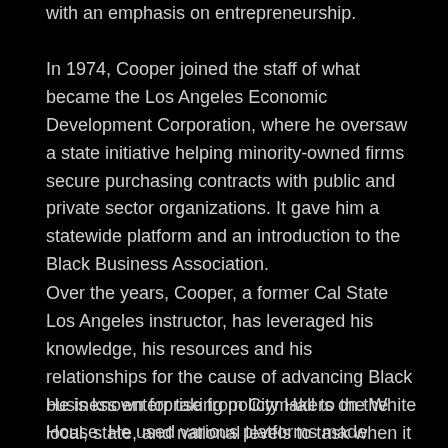with an emphasis on entrepreneurship.
In 1974, Cooper joined the staff of what became the Los Angeles Economic Development Corporation, where he oversaw a state initiative helping minority-owned firms secure purchasing contracts with public and private sector organizations. It gave him a statewide platform and an introduction to the Black Business Association.
Over the years, Cooper, a former Cal State Los Angeles instructor, has leveraged his knowledge, his resources and his relationships for the cause of advancing Black business enterprise from City Hall to the White House. He used various platforms made available to him to give voice to Black entrepreneurship.
He is known for taking policymakers on the local, state, and national levels to task when it comes to crafting responsible